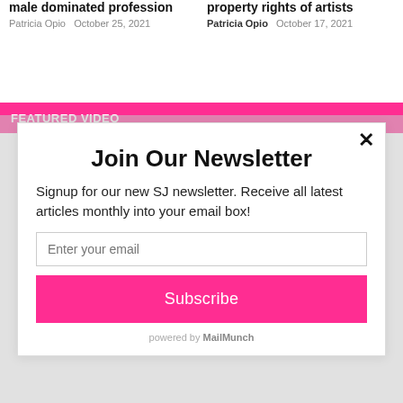male dominated profession  Patricia Opio  October 25, 2021
property rights of artists  Patricia Opio  October 17, 2021
FEATURED VIDEO
Join Our Newsletter
Signup for our new SJ newsletter. Receive all latest articles monthly into your email box!
Enter your email
Subscribe
powered by MailMunch